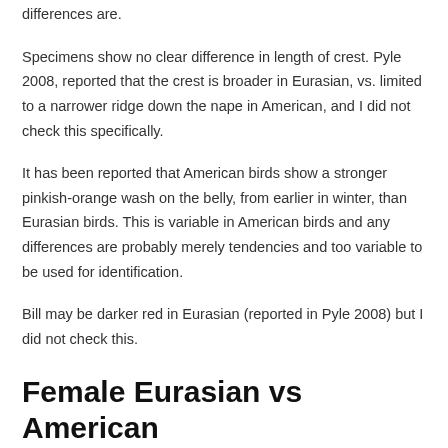differences are.
Specimens show no clear difference in length of crest. Pyle 2008, reported that the crest is broader in Eurasian, vs. limited to a narrower ridge down the nape in American, and I did not check this specifically.
It has been reported that American birds show a stronger pinkish-orange wash on the belly, from earlier in winter, than Eurasian birds. This is variable in American birds and any differences are probably merely tendencies and too variable to be used for identification.
Bill may be darker red in Eurasian (reported in Pyle 2008) but I did not check this.
Female Eurasian vs American
differences in feathers it will be more to check but